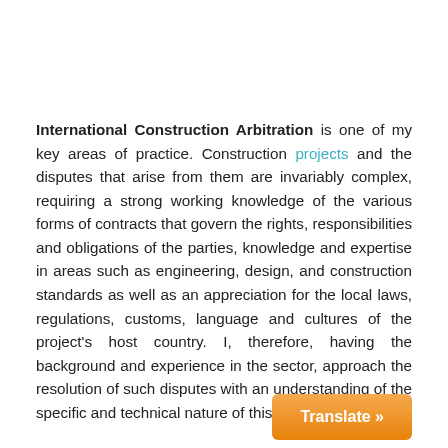International Construction Arbitration is one of my key areas of practice. Construction projects and the disputes that arise from them are invariably complex, requiring a strong working knowledge of the various forms of contracts that govern the rights, responsibilities and obligations of the parties, knowledge and expertise in areas such as engineering, design, and construction standards as well as an appreciation for the local laws, regulations, customs, language and cultures of the project's host country. I, therefore, having the background and experience in the sector, approach the resolution of such disputes with an understanding of the specific and technical nature of this sector.
In the international construction industry, a